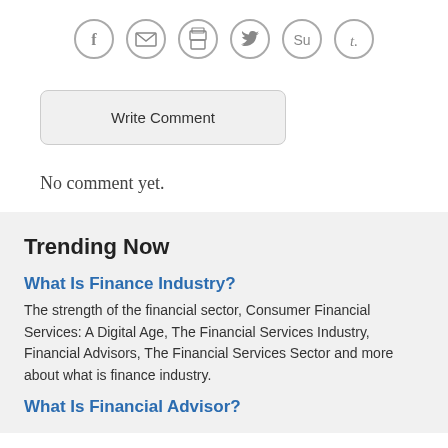[Figure (other): Social sharing icons row: Facebook, Email, Print, Twitter, StumbleUpon, Tumblr — circular grey outlined icons]
Write Comment
No comment yet.
Trending Now
What Is Finance Industry?
The strength of the financial sector, Consumer Financial Services: A Digital Age, The Financial Services Industry, Financial Advisors, The Financial Services Sector and more about what is finance industry.
What Is Financial Advisor?